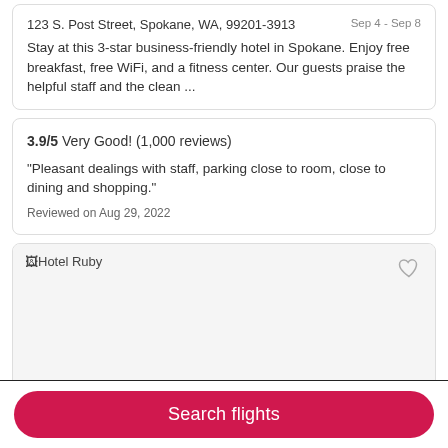123 S. Post Street, Spokane, WA, 99201-3913
Sep 4 - Sep 8
Stay at this 3-star business-friendly hotel in Spokane. Enjoy free breakfast, free WiFi, and a fitness center. Our guests praise the helpful staff and the clean ...
3.9/5 Very Good! (1,000 reviews)
"Pleasant dealings with staff, parking close to room, close to dining and shopping."
Reviewed on Aug 29, 2022
[Figure (photo): Hotel Ruby hotel image placeholder with heart/favorite icon in top right corner]
Search flights